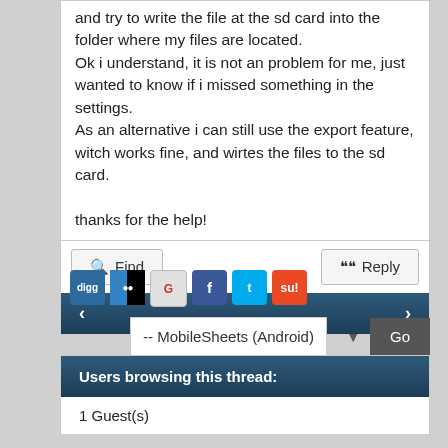and try to write the file at the sd card into the folder where my files are located.
Ok i understand, it is not an problem for me, just wanted to know if i missed something in the settings.
As an alternative i can still use the export feature, witch works fine, and wirtes the files to the sd card.

thanks for the help!
Find
Reply
< >
[Figure (screenshot): Social sharing icons: digg, delicious, google, facebook, twitter, stumbleupon]
-- MobileSheets (Android)   Go
Users browsing this thread:
1 Guest(s)